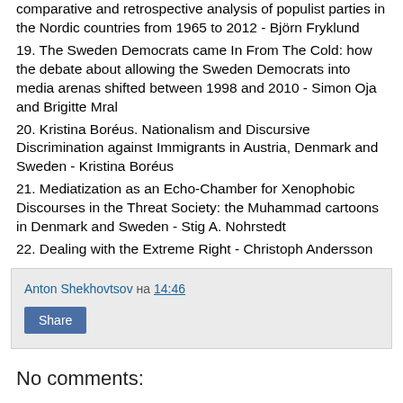comparative and retrospective analysis of populist parties in the Nordic countries from 1965 to 2012 - Björn Fryklund
19. The Sweden Democrats came In From The Cold: how the debate about allowing the Sweden Democrats into media arenas shifted between 1998 and 2010 - Simon Oja and Brigitte Mral
20. Kristina Boréus. Nationalism and Discursive Discrimination against Immigrants in Austria, Denmark and Sweden - Kristina Boréus
21. Mediatization as an Echo-Chamber for Xenophobic Discourses in the Threat Society: the Muhammad cartoons in Denmark and Sweden - Stig A. Nohrstedt
22. Dealing with the Extreme Right - Christoph Andersson
Anton Shekhovtsov на 14:46
Share
No comments:
Post a Comment